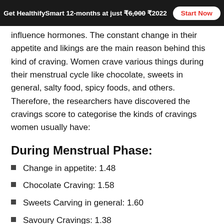Get HealthifySmart 12-months at just ₹6,000 ₹2022 Start Now
influence hormones. The constant change in their appetite and likings are the main reason behind this kind of craving. Women crave various things during their menstrual cycle like chocolate, sweets in general, salty food, spicy foods, and others. Therefore, the researchers have discovered the cravings score to categorise the kinds of cravings women usually have:
During Menstrual Phase:
Change in appetite: 1.48
Chocolate Craving: 1.58
Sweets Carving in general: 1.60
Savoury Cravings: 1.38
Other Food Cravings: 1.26